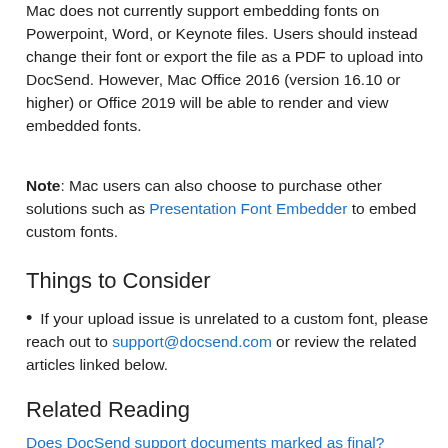Mac does not currently support embedding fonts on Powerpoint, Word, or Keynote files. Users should instead change their font or export the file as a PDF to upload into DocSend. However, Mac Office 2016 (version 16.10 or higher) or Office 2019 will be able to render and view embedded fonts.
Note: Mac users can also choose to purchase other solutions such as Presentation Font Embedder to embed custom fonts.
Things to Consider
If your upload issue is unrelated to a custom font, please reach out to support@docsend.com or review the related articles linked below.
Related Reading
Does DocSend support documents marked as final?